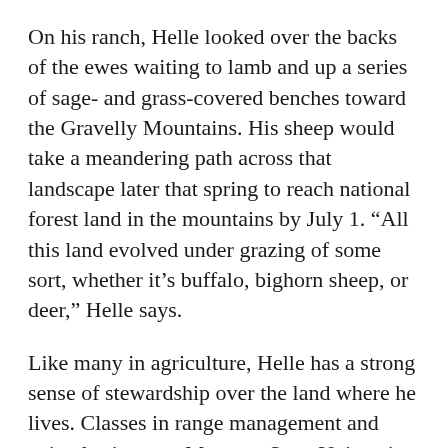On his ranch, Helle looked over the backs of the ewes waiting to lamb and up a series of sage- and grass-covered benches toward the Gravelly Mountains. His sheep would take a meandering path across that landscape later that spring to reach national forest land in the mountains by July 1. “All this land evolved under grazing of some sort, whether it’s buffalo, bighorn sheep, or deer,” Helle says.
Like many in agriculture, Helle has a strong sense of stewardship over the land where he lives. Classes in range management and animal science at Montana State University supplement his years of observations and generational knowledge about the lands his sheep graze. “If you don’t graze it, it tends to get really rank and prone to fire,” he says.